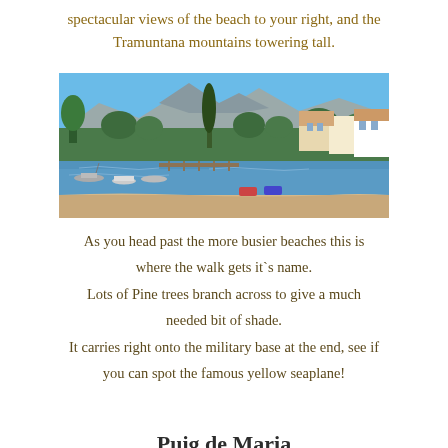spectacular views of the beach to your right, and the Tramuntana mountains towering tall.
[Figure (photo): A scenic waterfront view showing a marina with small boats, lush green trees including tall cypress and pine trees, Mediterranean-style buildings, and mountains in the background with a clear blue sky.]
As you head past the more busier beaches this is where the walk gets it`s name.
Lots of Pine trees branch across to give a much needed bit of shade.
It carries right onto the military base at the end, see if you can spot the famous yellow seaplane!
Puig de Maria